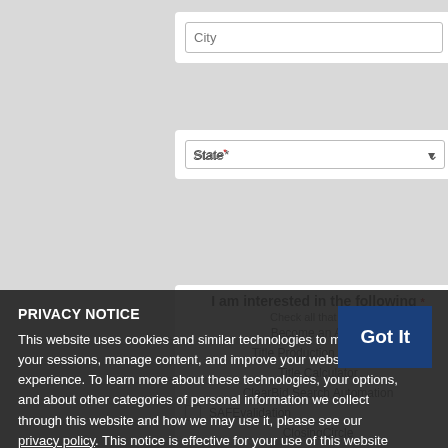City
State *
I am interested in the following * Check all that apply
Become an Agent
Title Production Services
Title Calculator
ClearBid Search Automation
Remote Online Notary (RON)
SAFEValidation
PRIVACY NOTICE
This website uses cookies and similar technologies to manage your sessions, manage content, and improve your website experience. To learn more about these technologies, your options, and about other categories of personal information we collect through this website and how we may use it, please see our privacy policy. This notice is effective for your use of this website for the next 14 days.